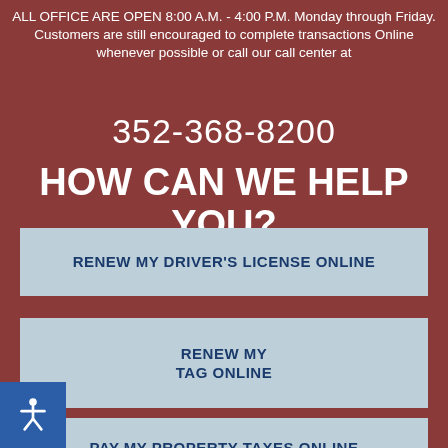ALL OFFICE ARE OPEN 8:00 A.M. - 4:00 P.M. Monday through Friday. Customers are still encouraged to complete transactions Online whenever possible or call our call center at
352-368-8200
HOW CAN WE HELP YOU?
RENEW MY DRIVER'S LICENSE ONLINE
RENEW MY TAG ONLINE
PAY MY PROPERTY TAXES ONLINE